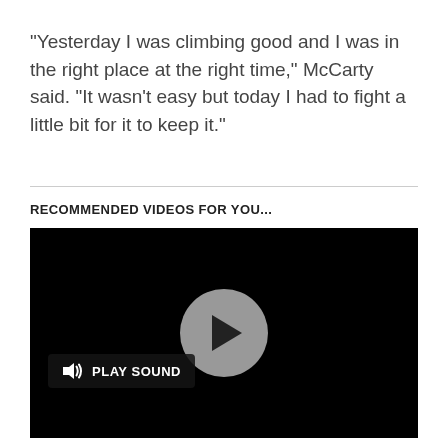"Yesterday I was climbing good and I was in the right place at the right time," McCarty said. "It wasn't easy but today I had to fight a little bit for it to keep it."
RECOMMENDED VIDEOS FOR YOU...
[Figure (screenshot): Black video player with a grey circular play button in the center and a 'PLAY SOUND' button with speaker icon in the lower left.]